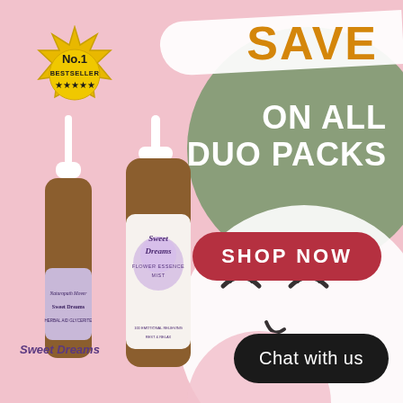[Figure (infographic): Promotional advertisement for Sweet Dreams duo pack. Pink background with decorative circles (green and white), gold No.1 Bestseller badge, 'SAVE ON ALL DUO PACKS' heading, red SHOP NOW button, two product bottles (Sweet Dreams dropper and Sweet Dreams Flower Essence Mist spray), and a 'Chat with us' dark pill button.]
SAVE
ON ALL DUO PACKS
No.1 BESTSELLER ★★★★★
SHOP NOW
Sweet Dreams
Sweet Dreams FLOWER ESSENCE MIST
Chat with us